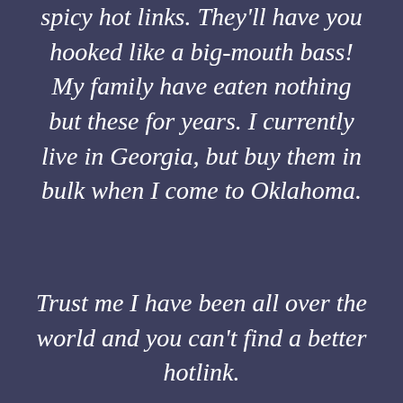spicy hot links.  They'll have you hooked like a big-mouth bass! My family have eaten nothing but these for years.  I currently live in Georgia, but buy them in bulk when I come to Oklahoma.
Trust me I have been all over the world and you can't find a better hotlink.